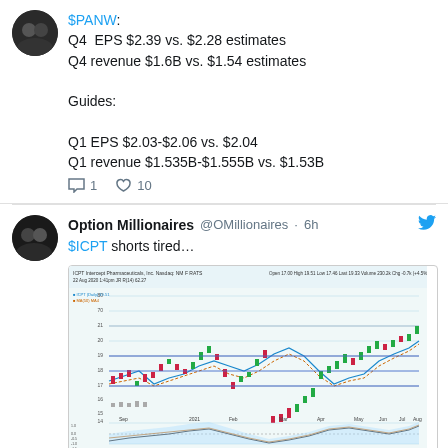$PANW: Q4 EPS $2.39 vs. $2.28 estimates Q4 revenue $1.6B vs. $1.54 estimates Guides: Q1 EPS $2.03-$2.06 vs. $2.04 Q1 revenue $1.535B-$1.555B vs. $1.53B
1 comment, 10 likes
Option Millionaires @OMillionaires · 6h
$ICPT shorts tired...
[Figure (continuous-plot): Stock chart for $ICPT (Intercept Pharmaceuticals) showing price action with moving averages, volume, and oscillator indicators over a multi-month period from approximately Sep to Aug.]